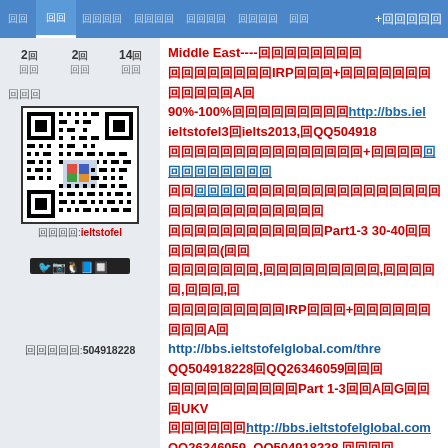Navigation bar with tabs and QQ/forum interface
2回 2回 14回 回回 回回 回回
回回回
[Figure (other): QR code for ieltstofel WeChat/social account]
回回回回:ieltstofel
[Figure (other): Social media icon bar]
回回回回回:504918228
Middle East----回回回回回回回回 回回回回回回回回IRP回回回+回回回回回回回回回回回回A回 90%-100%回回回回回回回回回 http://bbs.iel ieltstofel3回ielts2013,回QQ504918 回回回回回回回回回回回回回回回+回回回回 回回回回回回 回回回回回 回回回回回回回回回回回回回回回回回回回回回回回回回回回回回 回回回回回回回回回回回Part1-3 30-40回回回回回回回(回回 回回回回回回回,回回回回回回回回回,回回回回回,回回回,回 回回回回回回回回回IRP回回回+回回回回回回回回回A回 http://bbs.ieltstofelglobal.com/thre QQ504918228回QQ26346059回回回 回回回回回回回回回回Part 1-3回回A回G回回回UKV 回回回回回回http://bbs.ieltstofelglobal.com QQ26346059, QQ504918228,回回回回 回回回回回回回回回回回回回回回回回回回A回G 回回回UKV回回回回回回回回回回http://bbs.ielts